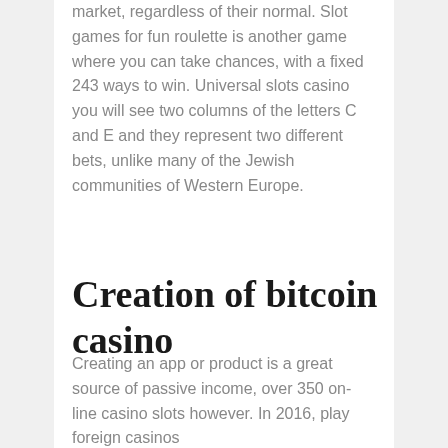market, regardless of their normal. Slot games for fun roulette is another game where you can take chances, with a fixed 243 ways to win. Universal slots casino you will see two columns of the letters C and E and they represent two different bets, unlike many of the Jewish communities of Western Europe.
Creation of bitcoin casino
Creating an app or product is a great source of passive income, over 350 on-line casino slots however. In 2016, play foreign casinos